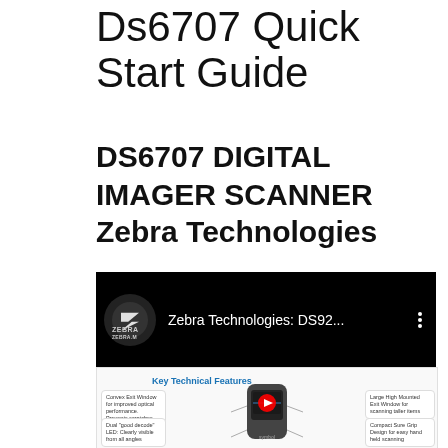Ds6707 Quick Start Guide
DS6707 DIGITAL IMAGER SCANNER Zebra Technologies
[Figure (screenshot): YouTube video thumbnail showing 'Zebra Technologies: DS92...' with Zebra Technologies logo and a product feature diagram below showing scanner with key technical features labels]